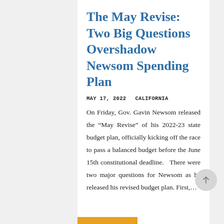The May Revise: Two Big Questions Overshadow Newsom Spending Plan
MAY 17, 2022   CALIFORNIA
On Friday, Gov. Gavin Newsom released the “May Revise” of his 2022-23 state budget plan, officially kicking off the race to pass a balanced budget before the June 15th constitutional deadline.   There were two major questions for Newsom as he released his revised budget plan. First,...